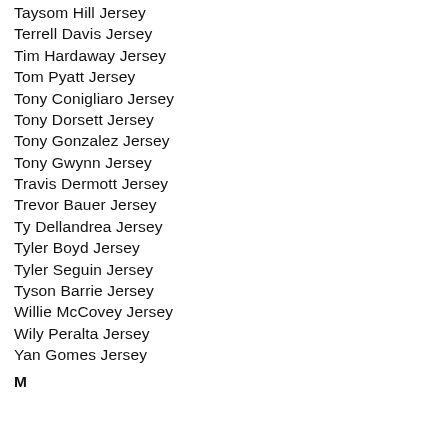Taysom Hill Jersey
Terrell Davis Jersey
Tim Hardaway Jersey
Tom Pyatt Jersey
Tony Conigliaro Jersey
Tony Dorsett Jersey
Tony Gonzalez Jersey
Tony Gwynn Jersey
Travis Dermott Jersey
Trevor Bauer Jersey
Ty Dellandrea Jersey
Tyler Boyd Jersey
Tyler Seguin Jersey
Tyson Barrie Jersey
Willie McCovey Jersey
Wily Peralta Jersey
Yan Gomes Jersey
M